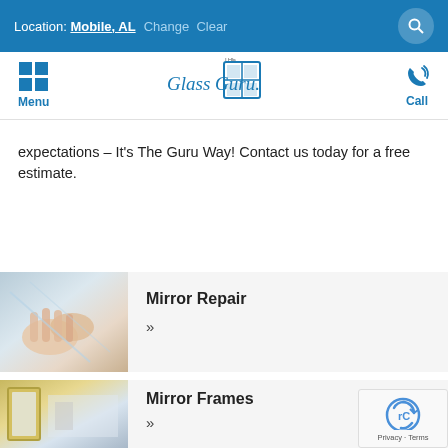Location: Mobile, AL  Change  Clear
[Figure (logo): The Glass Guru logo with grid menu icon and phone call icon]
expectations – It's The Guru Way! Contact us today for a free estimate.
[Figure (photo): Hands touching a glass mirror surface]
Mirror Repair
[Figure (photo): Interior room with large mirror frames]
Mirror Frames